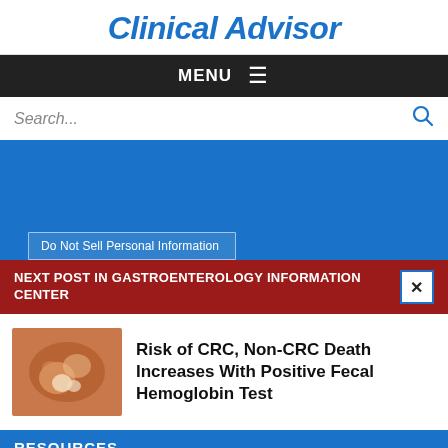Clinical Advisor
MENU
Search...
[Figure (screenshot): Blue advertisement/banner area with consent notice 'Do Not Sell Personal Information']
NEXT POST IN GASTROENTEROLOGY INFORMATION CENTER
[Figure (photo): Medical endoscopy image showing colorectal tissue]
Risk of CRC, Non-CRC Death Increases With Positive Fecal Hemoglobin Test
RESOURCES